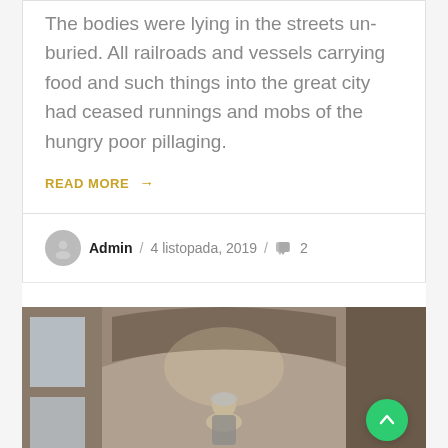The bodies were lying in the streets un-buried. All railroads and vessels carrying food and such things into the great city had ceased runnings and mobs of the hungry poor pillaging.
READ MORE →
Admin / 4 listopada, 2019 / 💬 2
[Figure (photo): Photo of a historic brick arcade or passage with arched ceiling, a person visible in the foreground with grey hair]